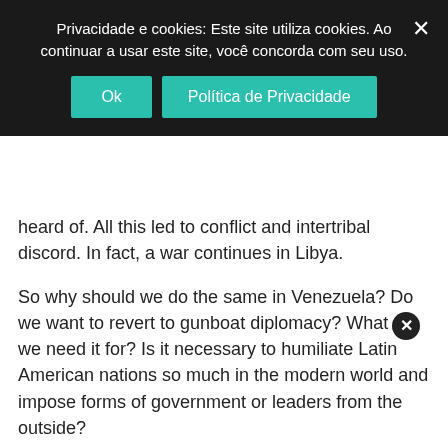Privacidade e cookies: Este site utiliza cookies. Ao continuar a usar este site, você concorda com seu uso.
heard of. All this led to conflict and intertribal discord. In fact, a war continues in Libya.
So why should we do the same in Venezuela? Do we want to revert to gunboat diplomacy? What do we need it for? Is it necessary to humiliate Latin American nations so much in the modern world and impose forms of government or leaders from the outside?
By the way, we worked with President Chávez because he was president. We did not work with President Chávez as an individual, but we worked with Venezuela. That is why we channelled investments in the oil sector.
And where did we plan to deliver Venezuelan oil while